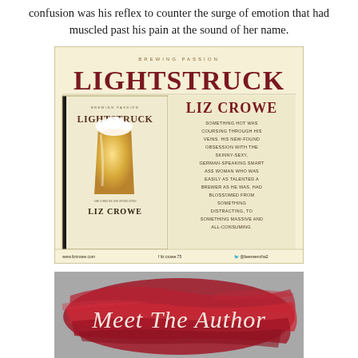confusion was his reflex to counter the surge of emotion that had muscled past his pain at the sound of her name.
[Figure (illustration): Book promotional graphic for 'Lightstruck' by Liz Crowe (Brewing Passion series). Shows book cover on left with beer glass image, and on right: large title 'LIGHTSTRUCK', author name 'LIZ CROWE', and excerpt text. Footer shows website and social media handles.]
[Figure (illustration): Red brushstroke banner graphic with cursive script text reading 'Meet The Author']